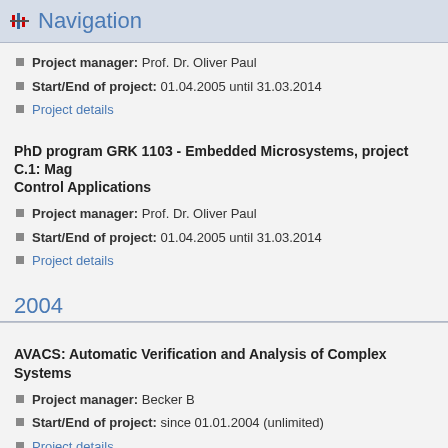Navigation
Project manager: Prof. Dr. Oliver Paul
Start/End of project: 01.04.2005 until 31.03.2014
Project details
PhD program GRK 1103 - Embedded Microsystems, project C.1: Mag... Control Applications
Project manager: Prof. Dr. Oliver Paul
Start/End of project: 01.04.2005 until 31.03.2014
Project details
2004
AVACS: Automatic Verification and Analysis of Complex Systems
Project manager: Becker B
Start/End of project: since 01.01.2004 (unlimited)
Project details
SFB/TR-14 AVACS: Verification of Hard- and Software
Project manager: Prof. Dr. Bernhard Nebel
Start/End of project: 01.01.2004 until 31.12.2015